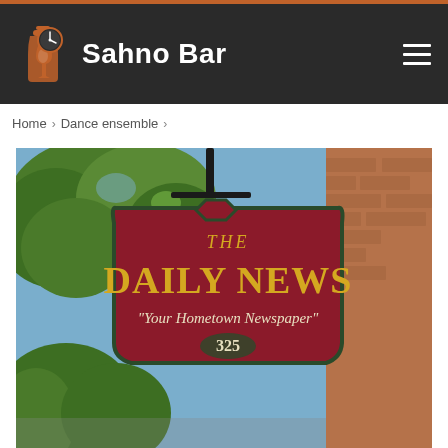Sahno Bar
Home > Dance ensemble >
[Figure (photo): Outdoor hanging sign reading 'The Daily News – Your Hometown Newspaper – 325', mounted on a brick building with green trees in background]